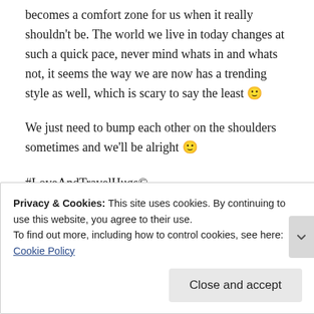becomes a comfort zone for us when it really shouldn't be. The world we live in today changes at such a quick pace, never mind whats in and whats not, it seems the way we are now has a trending style as well, which is scary to say the least 🙂
We just need to bump each other on the shoulders sometimes and we'll be alright 🙂
#LoveAndTravelHugs©
Cee
Privacy & Cookies: This site uses cookies. By continuing to use this website, you agree to their use.
To find out more, including how to control cookies, see here: Cookie Policy